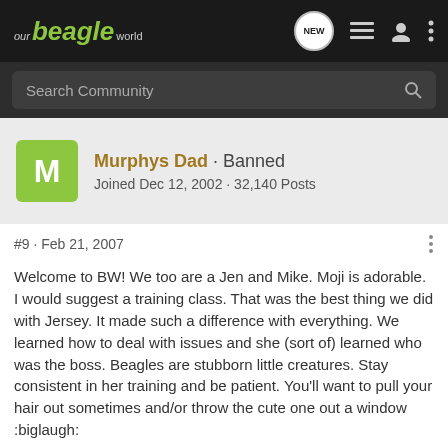our beagle world
Search Community
Murphys Dad · Banned
Joined Dec 12, 2002 · 32,140 Posts
#9 · Feb 21, 2007
Welcome to BW! We too are a Jen and Mike. Moji is adorable. I would suggest a training class. That was the best thing we did with Jersey. It made such a difference with everything. We learned how to deal with issues and she (sort of) learned who was the boss. Beagles are stubborn little creatures. Stay consistent in her training and be patient. You'll want to pull your hair out sometimes and/or throw the cute one out a window :biglaugh: